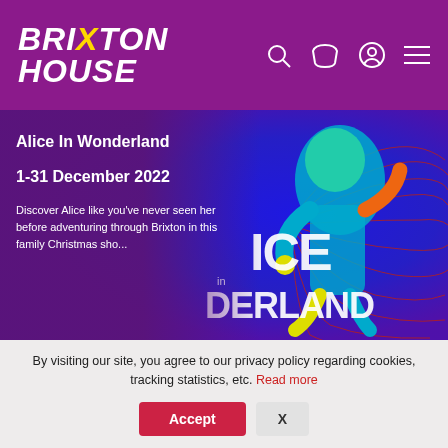BRIXTON HOUSE
[Figure (illustration): Alice In Wonderland promotional illustration showing a colorful cartoon character with teal hair singing into a microphone, set against a blue and red psychedelic swirl background with text overlay reading ICE in DERLAND]
Alice In Wonderland
1-31 December 2022
Discover Alice like you've never seen her before adventuring through Brixton in this family Christmas sho...
By visiting our site, you agree to our privacy policy regarding cookies, tracking statistics, etc. Read more
Accept
X